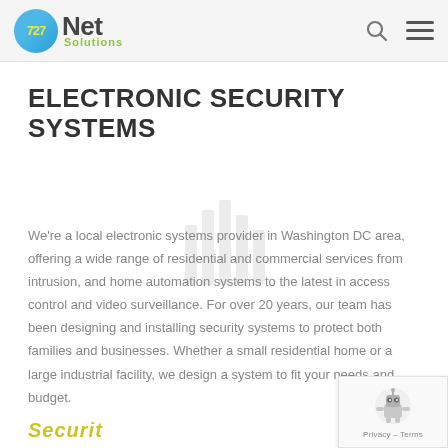727 Net Solutions
ELECTRONIC SECURITY SYSTEMS
We're a local electronic systems provider in Washington DC area, offering a wide range of residential and commercial services from intrusion, and home automation systems to the latest in access control and video surveillance. For over 20 years, our team has been designing and installing security systems to protect both families and businesses. Whether a small residential home or a large industrial facility, we design a system to fit your needs and budget.
[Figure (logo): reCAPTCHA badge with robot icon and Privacy - Terms text]